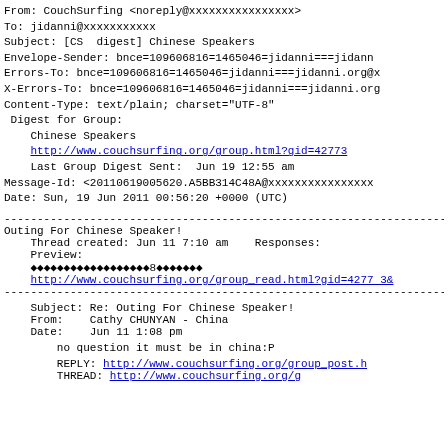From: CouchSurfing <noreply@xxxxxxxxxxxxxxxx>
To: jidanni@xxxxxxxxxxx
Subject: [CS digest] Chinese Speakers
Envelope-Sender: bnce=109606816=1465046=jidanni===jidann
Errors-To: bnce=109606816=1465046=jidanni===jidanni.org@x
X-Errors-To: bnce=109606816=1465046=jidanni===jidanni.org
Content-Type: text/plain; charset="UTF-8"
 Digest for Group:
    Chinese Speakers
    http://www.couchsurfing.org/group.html?gid=42773
    Last Group Digest Sent:  Jun 19 12:55 am
Message-Id: <20110619005620.A5BB314C48A@xxxxxxxxxxxxxxxx
Date: Sun, 19 Jun 2011 00:56:20 +0000 (UTC)
------------------------------------------------------------------------
Outing For Chinese Speaker!
    Thread created: Jun 11 7:10 am    Responses:
    Preview:
    ������������������8������
    http://www.couchsurfing.org/group_read.html?gid=4277 3&
------------------------------------------------------------------------
Subject: Re: Outing For Chinese Speaker!
    From:    Cathy CHUNYAN - China
    Date:    Jun 11 1:08 pm
no question it must be in china:P
REPLY: http://www.couchsurfing.org/group_post.h
        THREAD: http://www.couchsurfing.org/g